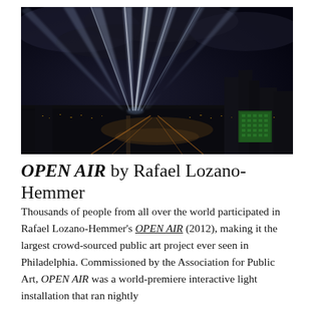[Figure (photo): Nighttime aerial cityscape of Philadelphia with bright blue searchlight beams radiating upward into a cloudy dark sky, city lights illuminating buildings and streets below, a green-lit building visible in the lower right corner.]
OPEN AIR by Rafael Lozano-Hemmer
Thousands of people from all over the world participated in Rafael Lozano-Hemmer's OPEN AIR (2012), making it the largest crowd-sourced public art project ever seen in Philadelphia. Commissioned by the Association for Public Art, OPEN AIR was a world-premiere interactive light installation that ran nightly